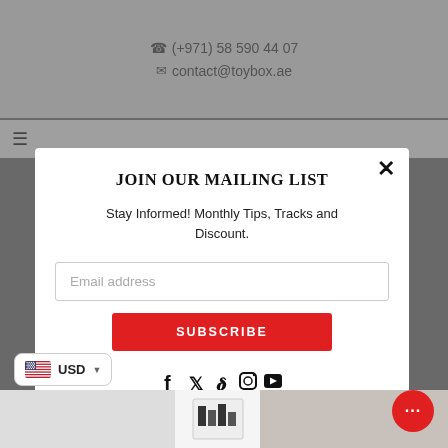(+971) 58 590 44 07 | contact@toybox.ae
JOIN OUR MAILING LIST
Stay Informed! Monthly Tips, Tracks and Discount.
Email address
SUBSCRIBE
DON'T SHOW THIS POPUP AGAIN